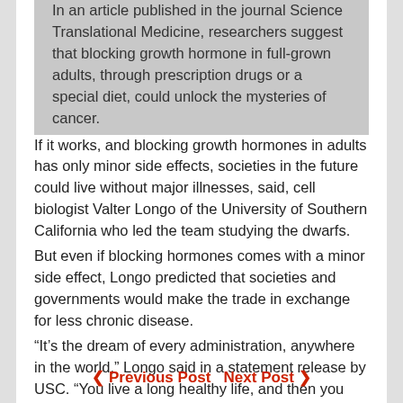In an article published in the journal Science Translational Medicine, researchers suggest that blocking growth hormone in full-grown adults, through prescription drugs or a special diet, could unlock the mysteries of cancer. If it works, and blocking growth hormones in adults has only minor side effects, societies in the future could live without major illnesses, said, cell biologist Valter Longo of the University of Southern California who led the team studying the dwarfs. But even if blocking hormones comes with a minor side effect, Longo predicted that societies and governments would make the trade in exchange for less chronic disease. “It’s the dream of every administration, anywhere in the world,” Longo said in a statement release by USC. “You live a long healthy life, and then you drop dead.”
FN
< Previous Post   Next Post >